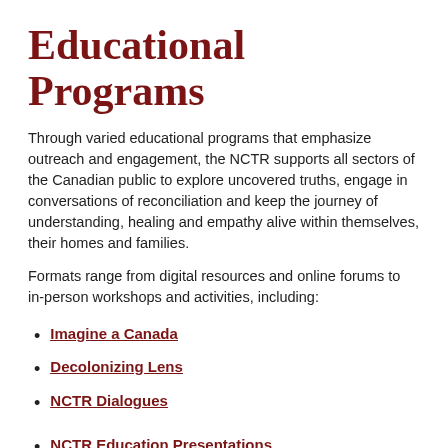Educational Programs
Through varied educational programs that emphasize outreach and engagement, the NCTR supports all sectors of the Canadian public to explore uncovered truths, engage in conversations of reconciliation and keep the journey of understanding, healing and empathy alive within themselves, their homes and families.
Formats range from digital resources and online forums to in-person workshops and activities, including:
Imagine a Canada
Decolonizing Lens
NCTR Dialogues
NCTR Education Presentations